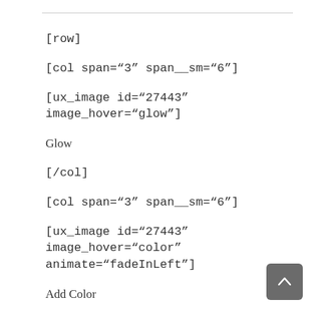[row]
[col span="3" span__sm="6"]
[ux_image id="27443" image_hover="glow"]
Glow
[/col]
[col span="3" span__sm="6"]
[ux_image id="27443" image_hover="color" animate="fadeInLeft"]
Add Color